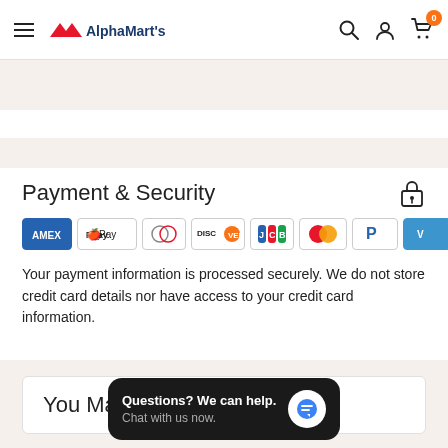AlphaMart's
Payment & Security
[Figure (logo): Payment method badges: Amex, Apple Pay, Diners Club, Discover, JCB, Mastercard, PayPal, Venmo, Visa]
Your payment information is processed securely. We do not store credit card details nor have access to your credit card information.
You May A...
Questions? We can help. Chat with us now.